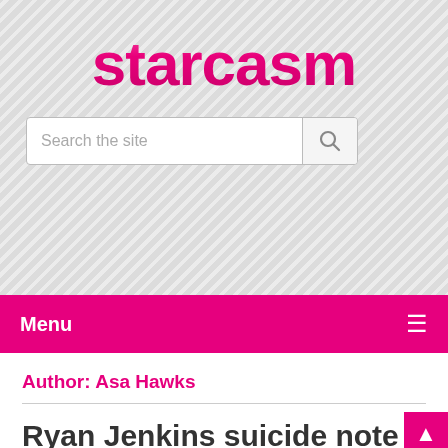starcasm
Search the site
Menu
Author: Asa Hawks
Ryan Jenkins suicide note found on computer, blames Jasmine Fiore
Asa Hawks    October 5, 2009    Jasmine Fi...